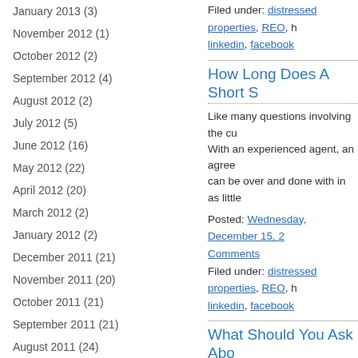January 2013 (3)
November 2012 (1)
October 2012 (2)
September 2012 (4)
August 2012 (2)
July 2012 (5)
June 2012 (16)
May 2012 (22)
April 2012 (20)
March 2012 (2)
January 2012 (2)
December 2011 (21)
November 2011 (20)
October 2011 (21)
September 2011 (21)
August 2011 (24)
July 2011 (22)
June 2011 (19)
Filed under: distressed properties, REO, linkedin, facebook
How Long Does A Short S
Like many questions involving the cu With an experienced agent, an agree can be over and done with in as little
Posted: Wednesday, December 15, 2 Comments Filed under: distressed properties, REO, linkedin, facebook
What Should You Ask Abo
You've researched it, discussed it wi forward with a short sale. Here are s commit to this move: -Should I short
Posted: Tuesday, December 7, 2010 Filed under: distressed properties, REO, linkedin, facebook